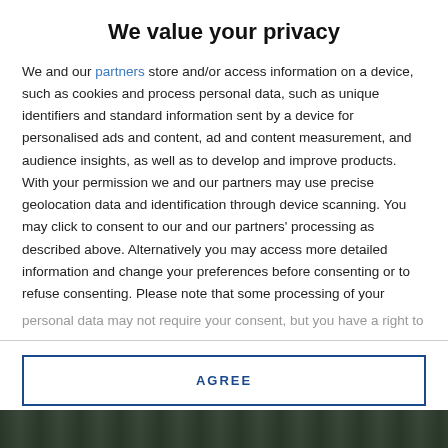We value your privacy
We and our partners store and/or access information on a device, such as cookies and process personal data, such as unique identifiers and standard information sent by a device for personalised ads and content, ad and content measurement, and audience insights, as well as to develop and improve products. With your permission we and our partners may use precise geolocation data and identification through device scanning. You may click to consent to our and our partners' processing as described above. Alternatively you may access more detailed information and change your preferences before consenting or to refuse consenting. Please note that some processing of your personal data may not require your consent, but you have a right to
AGREE
MORE OPTIONS
[Figure (photo): Dark toned background image at bottom of page]